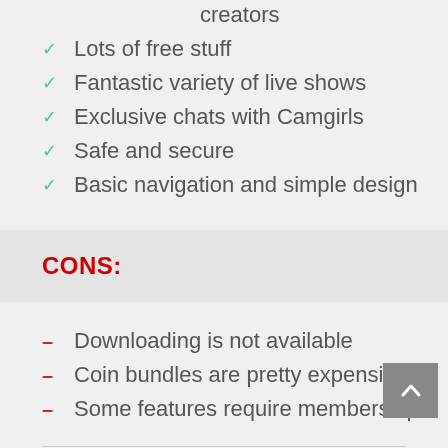creators
Lots of free stuff
Fantastic variety of live shows
Exclusive chats with Camgirls
Safe and secure
Basic navigation and simple design
CONS:
Downloading is not available
Coin bundles are pretty expensive
Some features require membership
Bottomline